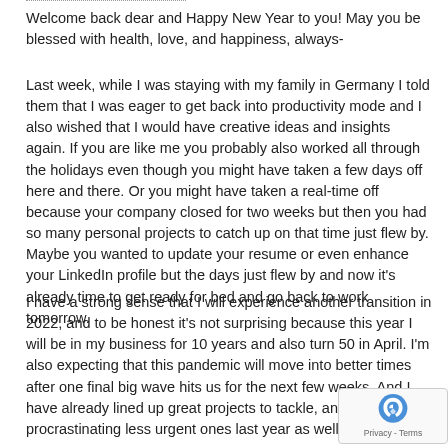Welcome back dear and Happy New Year to you! May you be blessed with health, love, and happiness, always-
Last week, while I was staying with my family in Germany I told them that I was eager to get back into productivity mode and I also wished that I would have creative ideas and insights again. If you are like me you probably also worked all through the holidays even though you might have taken a few days off here and there. Or you might have taken a real-time off because your company closed for two weeks but then you had so many personal projects to catch up on that time just flew by. Maybe you wanted to update your resume or even enhance your LinkedIn profile but the days just flew by and now it’s already time to get ready for bed and go back to work tomorrow.
I have a strong sense that I will experience another transition in 2022, and to be honest it’s not surprising because this year I will be in my business for 10 years and also turn 50 in April. I’m also expecting that this pandemic will move into better times after one final big wave hits us for the next few weeks. And I have already lined up great projects to tackle, and have been procrastinating less urgent ones last year as well.
[Figure (other): reCAPTCHA badge with Privacy - Terms text]